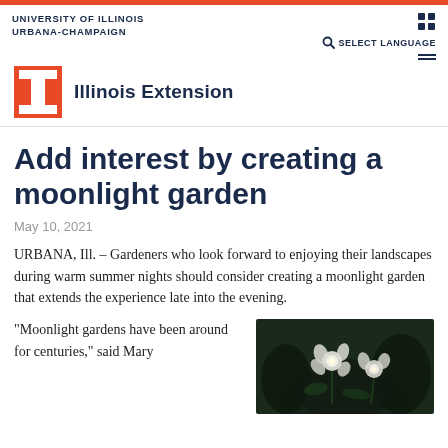UNIVERSITY OF ILLINOIS URBANA-CHAMPAIGN | Illinois Extension
Add interest by creating a moonlight garden
May 10, 2021
URBANA, Ill. – Gardeners who look forward to enjoying their landscapes during warm summer nights should consider creating a moonlight garden that extends the experience late into the evening.
“Moonlight gardens have been around for centuries,” said Mary
[Figure (photo): Close-up photo of white flowers against a dark background, likely moonlight garden flowers at night]